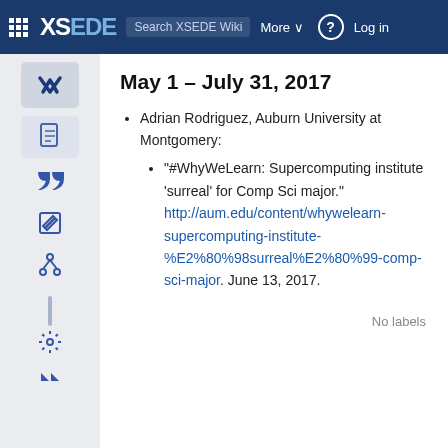XSEDE Wiki | More | Log in
May 1 – July 31, 2017
Adrian Rodriguez, Auburn University at Montgomery:
"#WhyWeLearn: Supercomputing institute 'surreal' for Comp Sci major." http://aum.edu/content/whywelearn-supercomputing-institute-%E2%80%98surreal%E2%80%99-comp-sci-major. June 13, 2017.
No labels
Powered by Atlassian Confluence 7.13.7 · Report a bug · Atlassian News